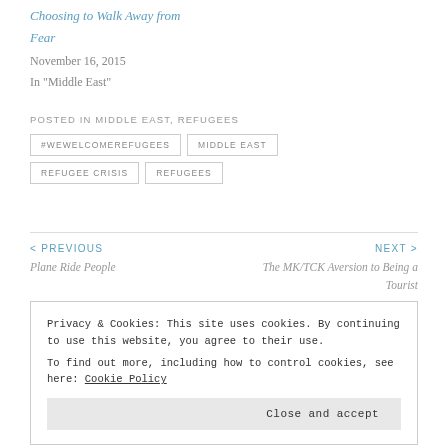Choosing to Walk Away from Fear
November 16, 2015
In "Middle East"
POSTED IN MIDDLE EAST, REFUGEES
#WEWELCOMEREFUGEES
MIDDLE EAST
REFUGEE CRISIS
REFUGEES
< PREVIOUS
Plane Ride People
NEXT >
The MK/TCK Aversion to Being a Tourist
Privacy & Cookies: This site uses cookies. By continuing to use this website, you agree to their use.
To find out more, including how to control cookies, see here: Cookie Policy
Close and accept
trotters41